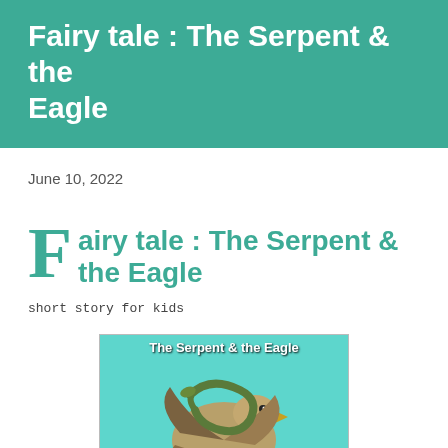Fairy tale : The Serpent & the Eagle
June 10, 2022
Fairy tale : The Serpent & the Eagle
short story for kids
[Figure (photo): Illustration of an eagle and a serpent on a teal/cyan background, with the title 'The Serpent & the Eagle' at the top and '@storypage' watermark at the bottom.]